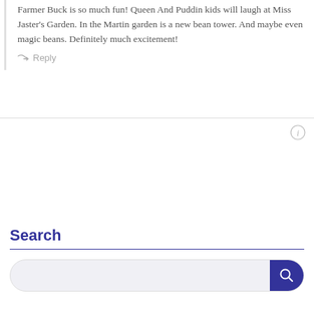Farmer Buck is so much fun! Queen And Puddin kids will laugh at Miss Jaster's Garden. In the Martin garden is a new bean tower. And maybe even magic beans. Definitely much excitement!
Reply
Search